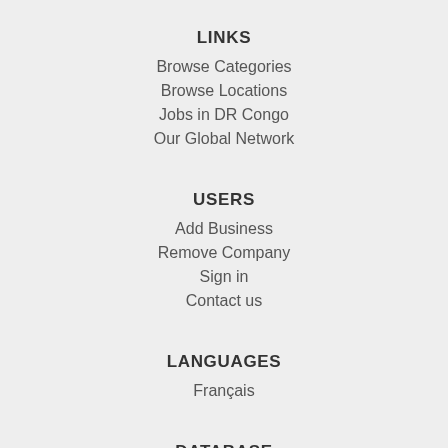LINKS
Browse Categories
Browse Locations
Jobs in DR Congo
Our Global Network
USERS
Add Business
Remove Company
Sign in
Contact us
LANGUAGES
Français
DATABASE